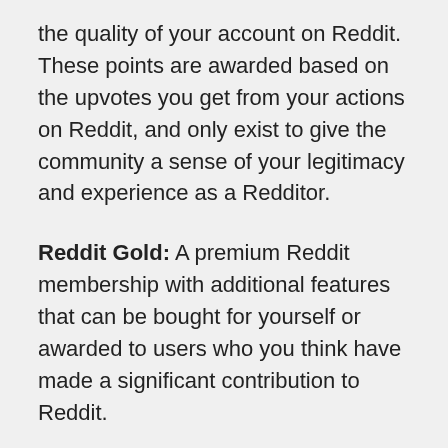the quality of your account on Reddit. These points are awarded based on the upvotes you get from your actions on Reddit, and only exist to give the community a sense of your legitimacy and experience as a Redditor.
Reddit Gold: A premium Reddit membership with additional features that can be bought for yourself or awarded to users who you think have made a significant contribution to Reddit.
OP (original poster): Referring to the